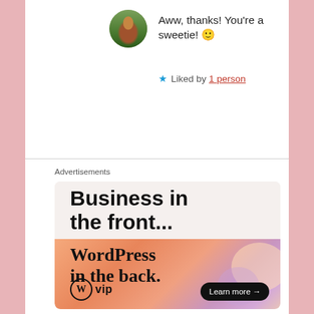Aww, thanks! You're a sweetie! 🙂
★ Liked by 1 person
Advertisements
[Figure (screenshot): WordPress VIP advertisement banner with text 'Business in the front... WordPress in the back.' and a 'Learn more →' button on a gradient orange-pink background]
Business in the front...
WordPress in the back.
WP vip  Learn more →